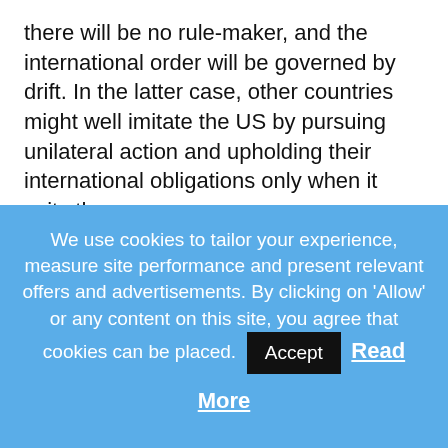there will be no rule-maker, and the international order will be governed by drift. In the latter case, other countries might well imitate the US by pursuing unilateral action and upholding their international obligations only when it suits them.
It is too early to say which scenario will play out. But one thing is clear: nationalism, populism, nativism, and protectionism are on the rise. Economic insecurities, as well as a growing sense of lost sovereignty, have contributed to an unprecedented degree of political polarization, and not
We use cookies to tailor your experience, measure site performance and present relevant offers and advertisements. By clicking on 'Allow' or any content on this site, you agree that cookies can be placed. Accept Read More